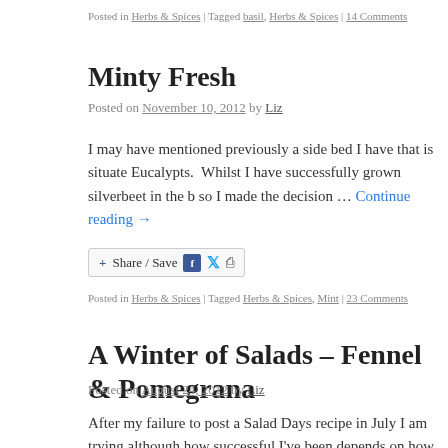Posted in Herbs & Spices | Tagged basil, Herbs & Spices | 14 Comments
Minty Fresh
Posted on November 10, 2012 by Liz
I may have mentioned previously a side bed I have that is situated near Eucalypts. Whilst I have successfully grown silverbeet in the be so I made the decision … Continue reading →
[Figure (other): Share / Save social sharing buttons with Facebook, Twitter, and share icons]
Posted in Herbs & Spices | Tagged Herbs & Spices, Mint | 23 Comments
A Winter of Salads – Fennel & Pomegrana
Posted on August 24, 2012 by Liz
After my failure to post a Salad Days recipe in July I am trying although how successful I've been depends on how you view fe